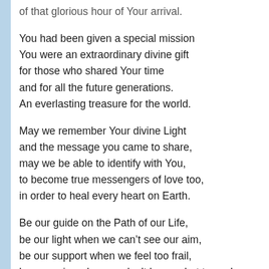of that glorious hour of Your arrival.
You had been given a special mission
You were an extraordinary divine gift
for those who shared Your time
and for all the future generations.
An everlasting treasure for the world.
May we remember Your divine Light
and the message you came to share,
may we be able to identify with You,
to become true messengers of love too,
in order to heal every heart on Earth.
Be our guide on the Path of our Life,
be our light when we can’t see our aim,
be our support when we feel too frail,
be our voice when we don’t know what to say!
Kindle the divine spark within our souls!